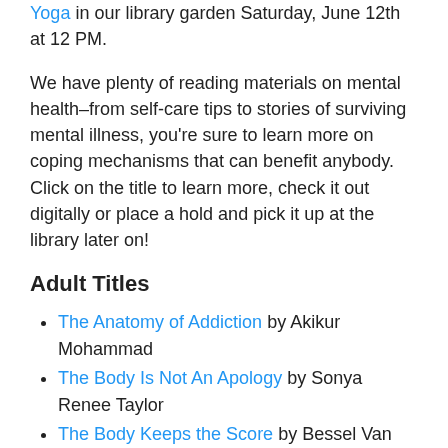Yoga in our library garden Saturday, June 12th at 12 PM.
We have plenty of reading materials on mental health–from self-care tips to stories of surviving mental illness, you're sure to learn more on coping mechanisms that can benefit anybody. Click on the title to learn more, check it out digitally or place a hold and pick it up at the library later on!
Adult Titles
The Anatomy of Addiction by Akikur Mohammad
The Body Is Not An Apology by Sonya Renee Taylor
The Body Keeps the Score by Bessel Van der Kolk
Braving the Wilderness by Brené Brown
Codependent No More by Melody Beattie
Cure: A Journey Into the Science of Mind Over Body by Jo Marchant
Girl, Interrupted by Susanna Kaysen